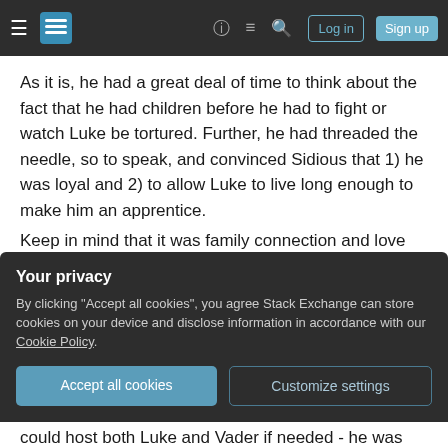Stack Exchange navigation bar with hamburger menu, logo, help, chat, search icons, Log in and Sign up buttons
As it is, he had a great deal of time to think about the fact that he had children before he had to fight or watch Luke be tortured. Further, he had threaded the needle, so to speak, and convinced Sidious that 1) he was loyal and 2) to allow Luke to live long enough to make him an apprentice.
Keep in mind that it was family connection and love that Sidious used to bring Anakin under his wing. Sidious knows better than others why the Jedi did not have worldly attachments - including to family.
Your privacy
By clicking "Accept all cookies", you agree Stack Exchange can store cookies on your device and disclose information in accordance with our Cookie Policy.
Accept all cookies   Customize settings
could host both Luke and Vader if needed - he was